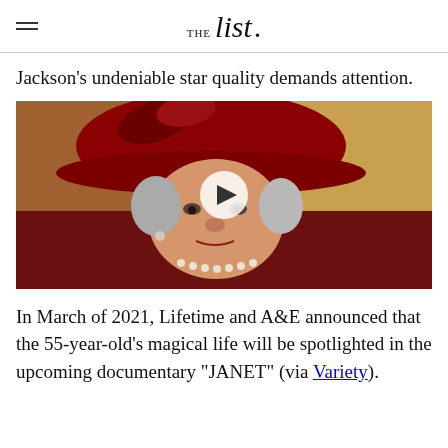THE list
Jackson's undeniable star quality demands attention.
[Figure (photo): Elderly woman wearing a dark red hat and red outfit, with pearl necklace, looking forward. A video play button overlay is visible in the center of the image.]
In March of 2021, Lifetime and A&E announced that the 55-year-old's magical life will be spotlighted in the upcoming documentary "JANET" (via Variety).